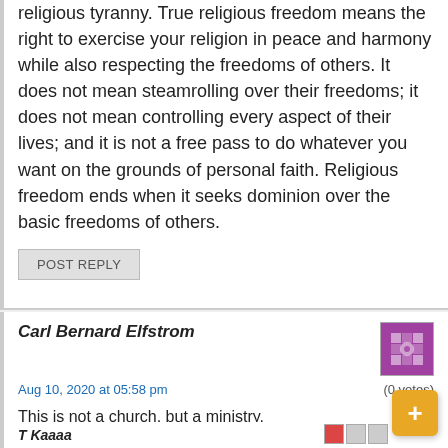religious tyranny. True religious freedom means the right to exercise your religion in peace and harmony while also respecting the freedoms of others. It does not mean steamrolling over their freedoms; it does not mean controlling every aspect of their lives; and it is not a free pass to do whatever you want on the grounds of personal faith. Religious freedom ends when it seeks dominion over the basic freedoms of others.
POST REPLY
Carl Bernard Elfstrom
Aug 10, 2020 at 05:58 pm
(0 votes)
This is not a church, but a ministry.
POST REPLY
T Kaaaa